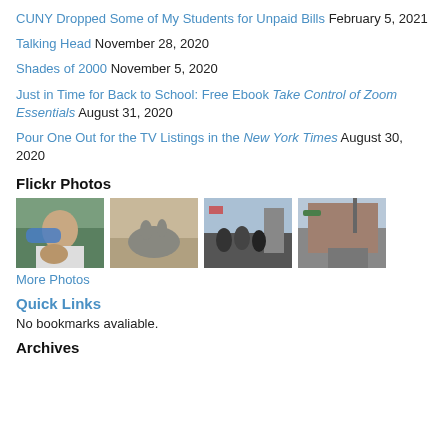CUNY Dropped Some of My Students for Unpaid Bills February 5, 2021
Talking Head November 28, 2020
Shades of 2000 November 5, 2020
Just in Time for Back to School: Free Ebook Take Control of Zoom Essentials August 31, 2020
Pour One Out for the TV Listings in the New York Times August 30, 2020
Flickr Photos
[Figure (photo): Four Flickr photo thumbnails: man with mask and dog outdoors; rabbit on couch; crowd on city street; street corner with cars and buildings]
More Photos
Quick Links
No bookmarks avaliable.
Archives